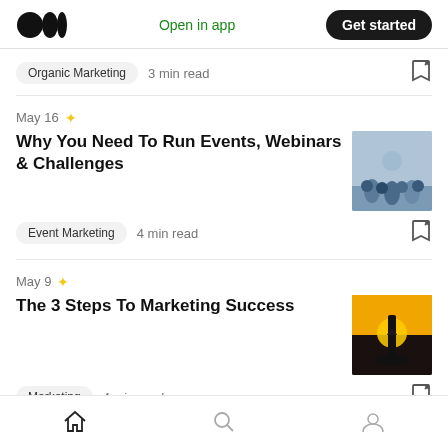Medium logo | Open in app | Get started
Organic Marketing  3 min read
May 16
Why You Need To Run Events, Webinars & Challenges
Event Marketing  4 min read
May 9
The 3 Steps To Marketing Success
Marketing  4 min read
Home | Search | Profile